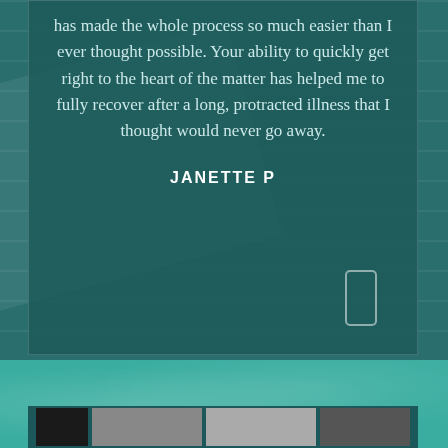has made the whole process so much easier than I ever thought possible. Your ability to quickly get right to the heart of the matter has helped me to fully recover after a long, protracted illness that I thought would never go away.
JANETTE P
[Figure (photo): Background showing a dark teal blurred image with bokeh lights, lower section of the page]